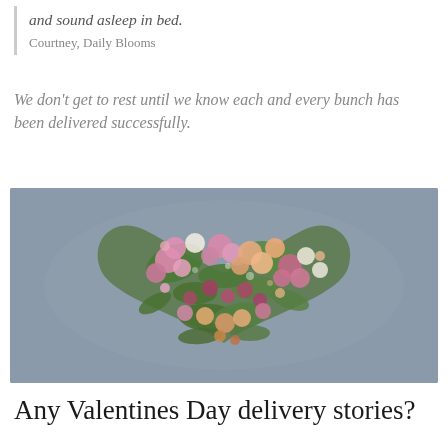and sound asleep in bed.
Courtney, Daily Blooms
We don't get to rest until we know each and every bunch has been delivered successfully.
[Figure (photo): Heart-shaped floral arrangement made of pink, peach, and green flowers against a grey background.]
Any Valentines Day delivery stories?